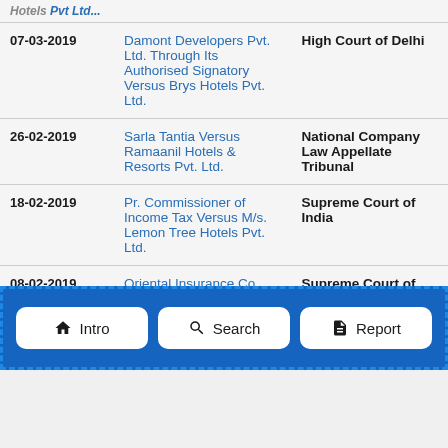| Date | Case | Court |
| --- | --- | --- |
| 07-03-2019 | Damont Developers Pvt. Ltd. Through Its Authorised Signatory Versus Brys Hotels Pvt. Ltd. | High Court of Delhi |
| 26-02-2019 | Sarla Tantia Versus Ramaanil Hotels & Resorts Pvt. Ltd. | National Company Law Appellate Tribunal |
| 18-02-2019 | Pr. Commissioner of Income Tax Versus M/s. Lemon Tree Hotels Pvt. Ltd. | Supreme Court of India |
| 08-02-2019 | Oriental Insurance Co. | Supreme Court of India |
| 29-01-2019 | Suntep India Ltd. Versus Bhartiya Hotels | High Court of Judicature at Calcutta |
[Figure (screenshot): Navigation bar overlay with three buttons: Intro (house icon), Search (magnifier icon), Report (document icon), on a blue dashed-border background]